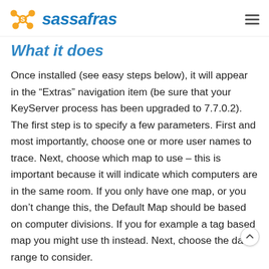sassafras
What it does
Once installed (see easy steps below), it will appear in the “Extras” navigation item (be sure that your KeyServer process has been upgraded to 7.7.0.2). The first step is to specify a few parameters. First and most importantly, choose one or more user names to trace. Next, choose which map to use – this is important because it will indicate which computers are in the same room. If you only have one map, or you don’t change this, the Default Map should be based on computer divisions. If you for example a tag based map you might use th instead. Next, choose the date range to consider.